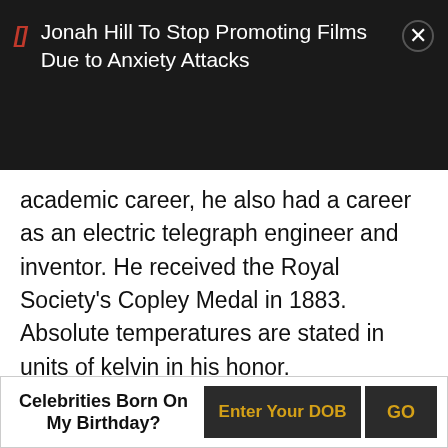Jonah Hill To Stop Promoting Films Due to Anxiety Attacks
academic career, he also had a career as an electric telegraph engineer and inventor. He received the Royal Society's Copley Medal in 1883. Absolute temperatures are stated in units of kelvin in his honor.
30 Paul Dirac
(One of the Most Significant Physicists of the 20th Century and Nobel Laureate)
Celebrities Born On My Birthday?  Enter Your DOB  GO